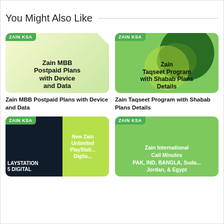You Might Also Like
[Figure (screenshot): Zain MBB Postpaid Plans with Device and Data card thumbnail with green gradient background and ZAIN KSA badge]
Zain MBB Postpaid Plans with Device and Data
[Figure (screenshot): Zain Taqseet Program with Shabab Plans Details card thumbnail with green background and pie chart graphic and ZAIN KSA badge]
Zain Taqseet Program with Shabab Plans Details
[Figure (screenshot): New Zain Unlimited PlayStation 5 Digital card with dark and lime green background and ZAIN KSA badge]
[Figure (screenshot): Zain International Call Minutes PAK, IND, BANGLA, Sudan, Jordan, & Egypt card with green background and ZAIN KSA badge]